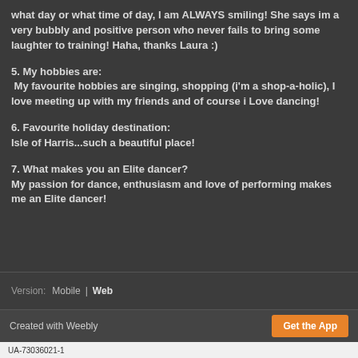what day or what time of day, I am ALWAYS smiling! She says im a very bubbly and positive person who never fails to bring some laughter to training! Haha, thanks Laura :)
5. My hobbies are:
My favourite hobbies are singing, shopping (i'm a shop-a-holic), I love meeting up with my friends and of course i Love dancing!
6. Favourite holiday destination:
Isle of Harris...such a beautiful place!
7. What makes you an Elite dancer?
My passion for dance, enthusiasm and love of performing makes me an Elite dancer!
Version: Mobile | Web
Created with Weebly   Get the App
UA-73036021-1